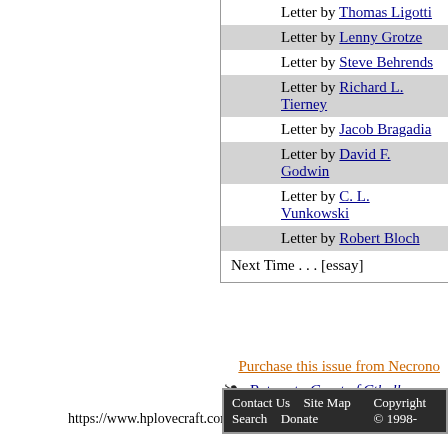Letter by Thomas Ligotti
Letter by Lenny Grotze
Letter by Steve Behrends
Letter by Richard L. Tierney
Letter by Jacob Bragadia
Letter by David F. Godwin
Letter by C. L. Vunkowski
Letter by Robert Bloch
Next Time . . . [essay]
Purchase this issue from Necrono
[Figure (illustration): Decorative floral ornament]
Return to Crypt of Cthulhu
URL:
https://www.hplovecraft.com/study/periodicals/search.a
Contact Us   Site Map   Search   Donate   Copyright © 1998-